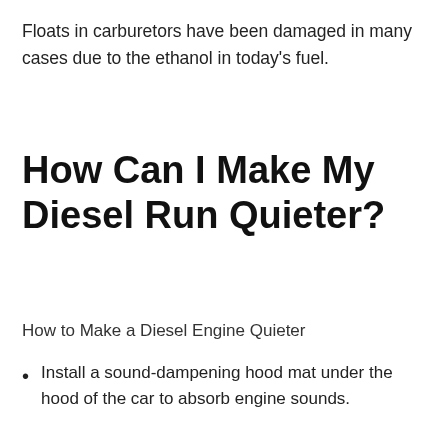Floats in carburetors have been damaged in many cases due to the ethanol in today's fuel.
How Can I Make My Diesel Run Quieter?
How to Make a Diesel Engine Quieter
Install a sound-dampening hood mat under the hood of the car to absorb engine sounds.